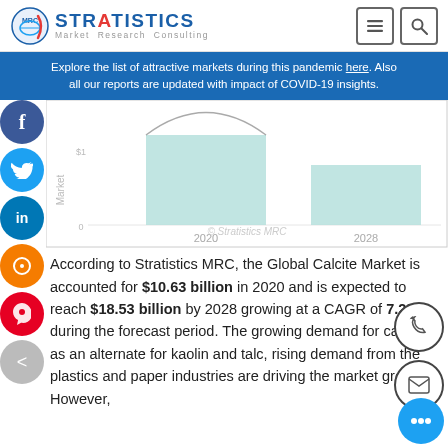Stratistics Market Research Consulting
Explore the list of attractive markets during this pandemic here. Also all our reports are updated with impact of COVID-19 insights.
[Figure (bar-chart): Partially visible blurred bar chart showing market values for 2020 and 2028, watermarked with Stratistics MRC]
According to Stratistics MRC, the Global Calcite Market is accounted for $10.63 billion in 2020 and is expected to reach $18.53 billion by 2028 growing at a CAGR of 7.2% during the forecast period. The growing demand for calcite as an alternate for kaolin and talc, rising demand from the plastics and paper industries are driving the market growth. However,